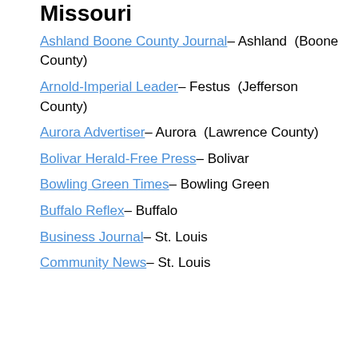Missouri
Ashland Boone County Journal– Ashland (Boone County)
Arnold-Imperial Leader– Festus (Jefferson County)
Aurora Advertiser– Aurora (Lawrence County)
Bolivar Herald-Free Press– Bolivar
Bowling Green Times– Bowling Green
Buffalo Reflex– Buffalo
Business Journal– St. Louis
Community News– St. Louis